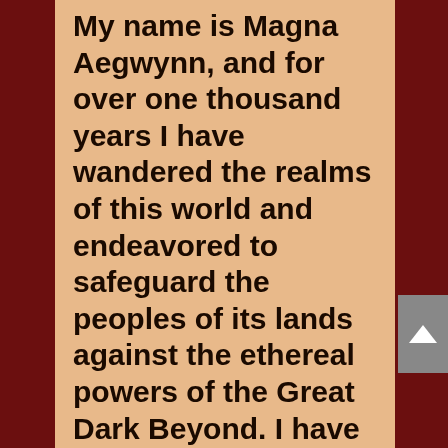My name is Magna Aegwynn, and for over one thousand years I have wandered the realms of this world and endeavored to safeguard the peoples of its lands against the ethereal powers of the Great Dark Beyond. I have seen mighty kingdoms rise and fall. I have witnessed the deeds of high nobility and the lowliest of rabble both conspire to define the destiny of mankind.

It has been only recently